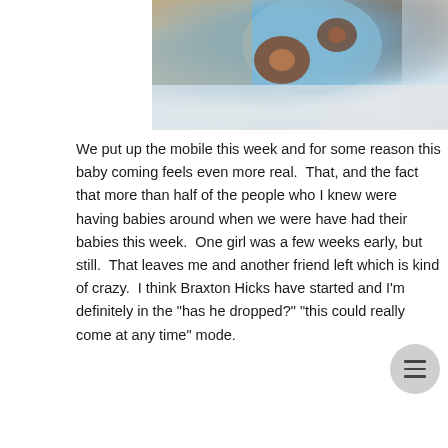[Figure (photo): Close-up photo of a knitted baby mobile toy in blue and brown colors, held up near a white crib with blurred background]
We put up the mobile this week and for some reason this baby coming feels even more real.  That, and the fact that more than half of the people who I knew were having babies around when we were have had their babies this week.  One girl was a few weeks early, but still.  That leaves me and another friend left which is kind of crazy.  I think Braxton Hicks have started and I'm definitely in the "has he dropped?" "this could really come at any time" mode.
[Figure (photo): Partial photo of a baby mobile hanging over a crib, showing blue toy elements and striped curtains in the background]